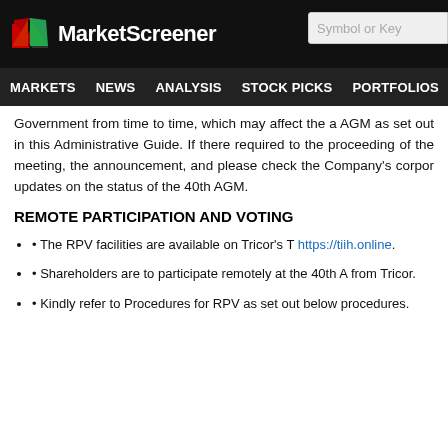MarketScreener | MARKETS NEWS ANALYSIS STOCK PICKS PORTFOLIOS WATCHLI
Government from time to time, which may affect the AGM as set out in this Administrative Guide. If there required to the proceeding of the meeting, the announcement, and please check the Company's corporate updates on the status of the 40th AGM.
REMOTE PARTICIPATION AND VOTING
• The RPV facilities are available on Tricor's T https://tiih.online.
• Shareholders are to participate remotely at the 40th A from Tricor.
• Kindly refer to Procedures for RPV as set out below procedures.